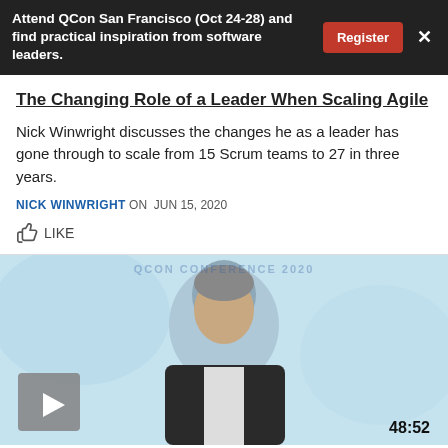Attend QCon San Francisco (Oct 24-28) and find practical inspiration from software leaders.
The Changing Role of a Leader When Scaling Agile
Nick Winwright discusses the changes he as a leader has gone through to scale from 15 Scrum teams to 27 in three years.
NICK WINWRIGHT ON  JUN 15, 2020
LIKE
[Figure (photo): Video thumbnail showing a man in a dark suit with grey hair, with a play button overlay and duration 48:52]
CULTURE & METHODS
Crafting Self-Organizing Teams for Efficient Project